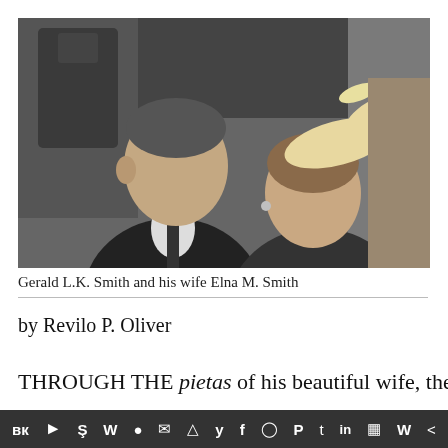[Figure (photo): Black and white photograph of Gerald L.K. Smith and his wife Elna M. Smith. A man in a dark suit and tie is on the left, a woman wearing a feathered hat is on the right.]
Gerald L.K. Smith and his wife Elna M. Smith
by Revilo P. Oliver
THROUGH THE pietas of his beautiful wife, the